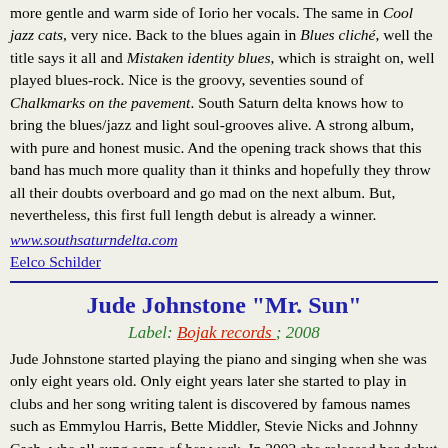more gentle and warm side of Iorio her vocals. The same in Cool jazz cats, very nice. Back to the blues again in Blues cliché, well the title says it all and Mistaken identity blues, which is straight on, well played blues-rock. Nice is the groovy, seventies sound of Chalkmarks on the pavement. South Saturn delta knows how to bring the blues/jazz and light soul-grooves alive. A strong album, with pure and honest music. And the opening track shows that this band has much more quality than it thinks and hopefully they throw all their doubts overboard and go mad on the next album. But, nevertheless, this first full length debut is already a winner.
www.southsaturndelta.com
Eelco Schilder
Jude Johnstone "Mr. Sun"
Label: Bojak records ; 2008
Jude Johnstone started playing the piano and singing when she was only eight years old. Only eight years later she started to play in clubs and her song writing talent is discovered by famous names such as Emmylou Harris, Bette Middler, Stevie Nicks and Johnny Cash, who all sung some of her work. In 2002 she released her debut album called Coming of age and now Mr. Sun is her fourth solo album and this album shows a highly professional singer-songwriter which can compete with some of the artists that have sung her songs. Johnstone has a open minded, easy going jazzy